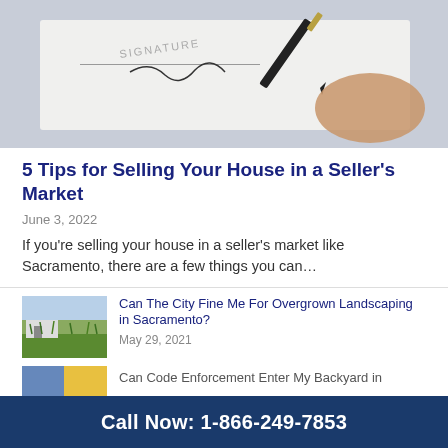[Figure (photo): Photo of a person signing a document with a pen, showing 'SIGNATURE' text on paper]
5 Tips for Selling Your House in a Seller's Market
June 3, 2022
If you're selling your house in a seller's market like Sacramento, there are a few things you can…
[Figure (photo): Photo of a house with overgrown grass landscaping]
Can The City Fine Me For Overgrown Landscaping in Sacramento?
May 29, 2021
[Figure (photo): Partial photo thumbnail, partially visible]
Can Code Enforcement Enter My Backyard in
Call Now: 1-866-249-7853